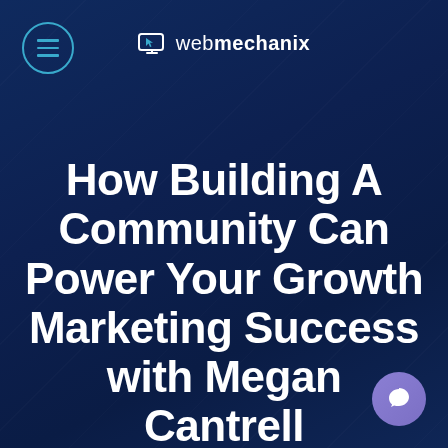[Figure (logo): webmechanix brand logo with cursor/monitor icon and wordmark]
How Building A Community Can Power Your Growth Marketing Success with Megan Cantrell